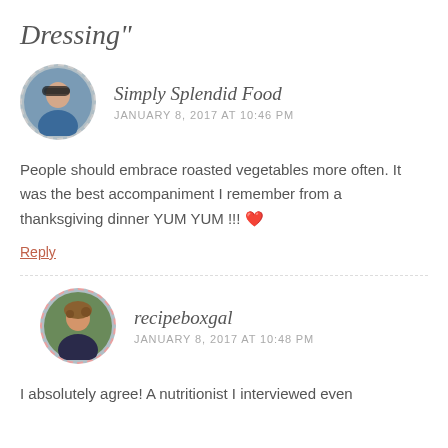Dressing"
Simply Splendid Food
JANUARY 8, 2017 AT 10:46 PM
People should embrace roasted vegetables more often. It was the best accompaniment I remember from a thanksgiving dinner YUM YUM !!! ❤️
Reply
recipeboxgal
JANUARY 8, 2017 AT 10:48 PM
I absolutely agree! A nutritionist I interviewed even